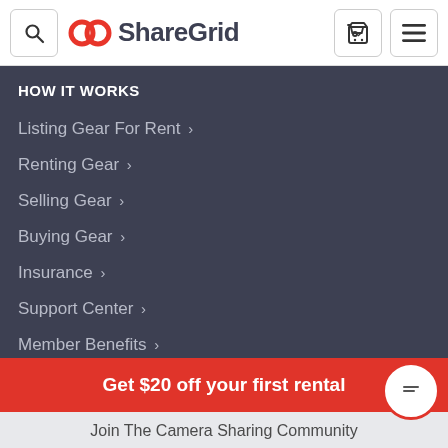ShareGrid
HOW IT WORKS
Listing Gear For Rent ›
Renting Gear ›
Selling Gear ›
Buying Gear ›
Insurance ›
Support Center ›
Member Benefits ›
About ShareGrid ›
TOP CITIES
Los Angeles, CA Rentals ›
Get $20 off your first rental
Join The Camera Sharing Community